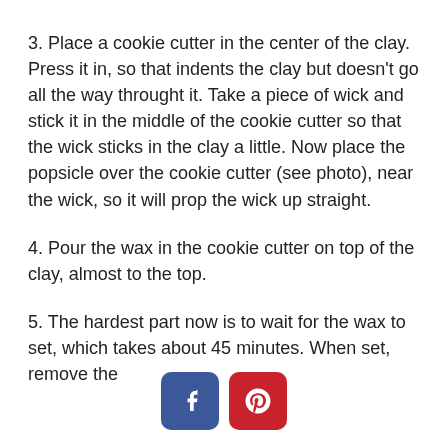3. Place a cookie cutter in the center of the clay. Press it in, so that indents the clay but doesn't go all the way throught it. Take a piece of wick and stick it in the middle of the cookie cutter so that the wick sticks in the clay a little. Now place the popsicle over the cookie cutter (see photo), near the wick, so it will prop the wick up straight.
4. Pour the wax in the cookie cutter on top of the clay, almost to the top.
5. The hardest part now is to wait for the wax to set, which takes about 45 minutes. When set, remove the
[Figure (other): Social media share buttons: Facebook (blue) and Pinterest (red)]